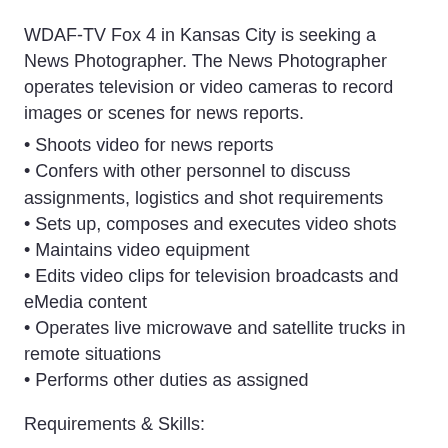WDAF-TV Fox 4 in Kansas City is seeking a News Photographer. The News Photographer operates television or video cameras to record images or scenes for news reports.
• Shoots video for news reports
• Confers with other personnel to discuss assignments, logistics and shot requirements
• Sets up, composes and executes video shots
• Maintains video equipment
• Edits video clips for television broadcasts and eMedia content
• Operates live microwave and satellite trucks in remote situations
• Performs other duties as assigned
Requirements & Skills: